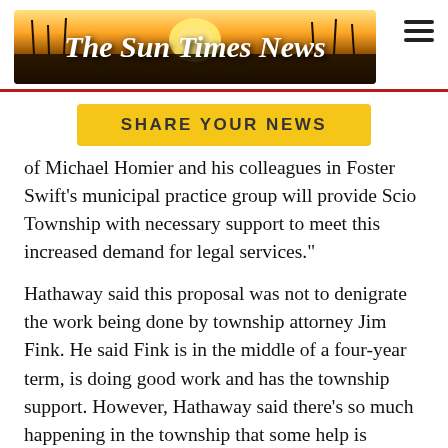[Figure (logo): The Sun Times News banner logo with golden sunset and dark silhouette background]
SHARE YOUR NEWS
of Michael Homier and his colleagues in Foster Swift's municipal practice group will provide Scio Township with necessary support to meet this increased demand for legal services."
Hathaway said this proposal was not to denigrate the work being done by township attorney Jim Fink. He said Fink is in the middle of a four-year term, is doing good work and has the township support. However, Hathaway said there's so much happening in the township that some help is needed.